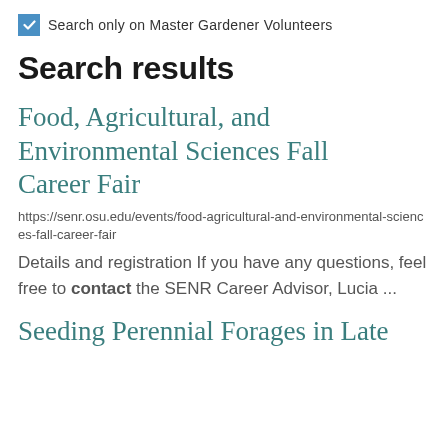Search only on Master Gardener Volunteers
Search results
Food, Agricultural, and Environmental Sciences Fall Career Fair
https://senr.osu.edu/events/food-agricultural-and-environmental-sciences-fall-career-fair
Details and registration If you have any questions, feel free to contact the SENR Career Advisor, Lucia ...
Seeding Perennial Forages in Late